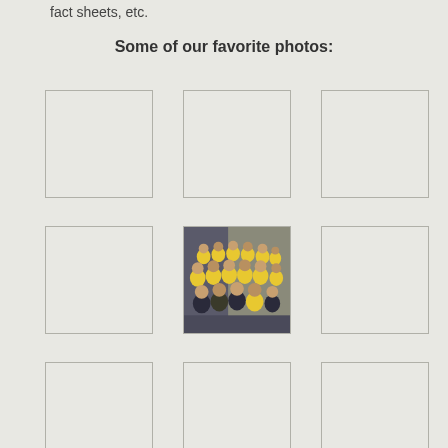fact sheets, etc.
Some of our favorite photos:
[Figure (photo): Empty photo placeholder box 1]
[Figure (photo): Empty photo placeholder box 2]
[Figure (photo): Empty photo placeholder box 3]
[Figure (photo): Empty photo placeholder box 4]
[Figure (photo): Photo of a sports team in yellow shirts posed in rows indoors]
[Figure (photo): Empty photo placeholder box 6]
[Figure (photo): Empty photo placeholder box 7]
[Figure (photo): Empty photo placeholder box 8]
[Figure (photo): Empty photo placeholder box 9]